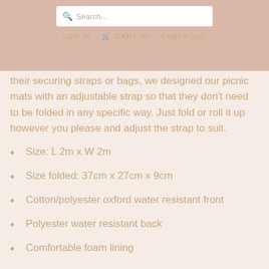Search... LOG IN CART (0) CHECKOUT
their securing straps or bags, we designed our picnic mats with an adjustable strap so that they don't need to be folded in any specific way. Just fold or roll it up however you please and adjust the strap to suit.
Size: L 2m x W 2m
Size folded: 37cm x 27cm x 9cm
Cotton/polyester oxford water resistant front
Polyester water resistant back
Comfortable foam lining